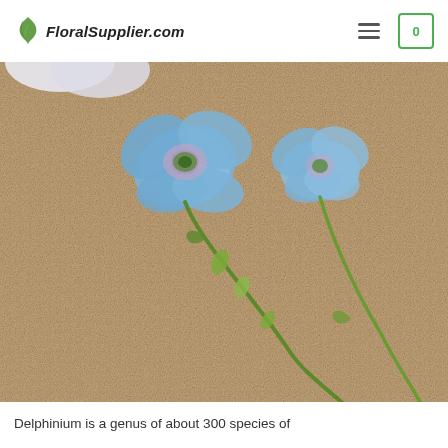FloralSupplier.com
[Figure (photo): Blue delphinium flowers with stems and buds lying on a burlap fabric background. Two open blue blooms with pinkish centers are visible along with green stems and small buds.]
Delphinium is a genus of about 300 species of